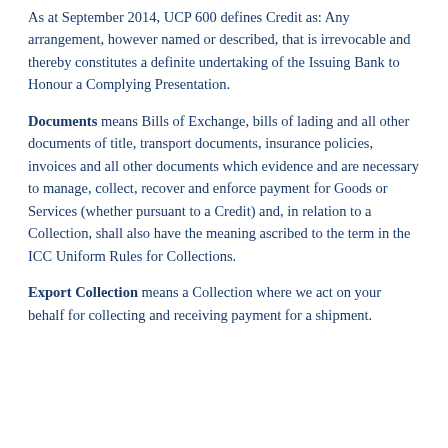As at September 2014, UCP 600 defines Credit as: Any arrangement, however named or described, that is irrevocable and thereby constitutes a definite undertaking of the Issuing Bank to Honour a Complying Presentation.
Documents means Bills of Exchange, bills of lading and all other documents of title, transport documents, insurance policies, invoices and all other documents which evidence and are necessary to manage, collect, recover and enforce payment for Goods or Services (whether pursuant to a Credit) and, in relation to a Collection, shall also have the meaning ascribed to the term in the ICC Uniform Rules for Collections.
Export Collection means a Collection where we act on your behalf for collecting and receiving payment for a shipment.